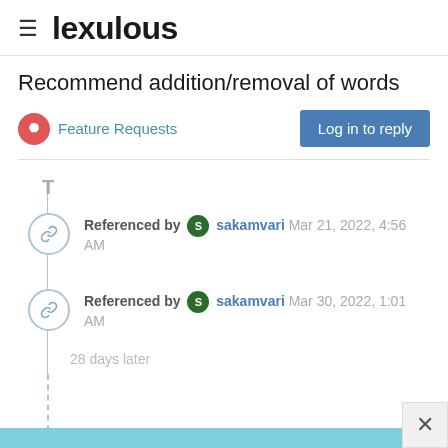≡ lexulous
Recommend addition/removal of words
Feature Requests
Log in to reply
Referenced by sakamvari Mar 21, 2022, 4:56 AM
Referenced by sakamvari Mar 30, 2022, 1:01 AM
28 days later